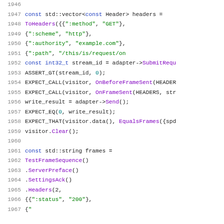Source code listing, lines 1946–1967, C++ test code with HTTP/2 header and frame sequence setup